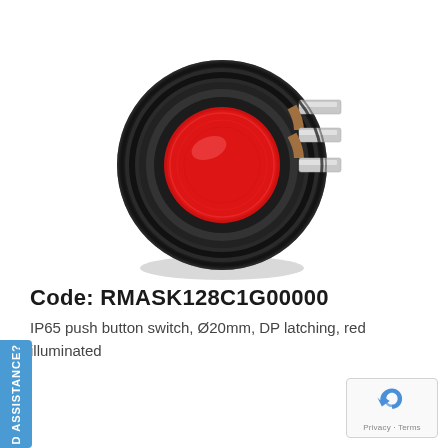[Figure (photo): A round IP65 push button switch with black rubber housing, red illuminated lens, and metal blade terminals visible on the right side.]
Code: RMASK128C1G00000
IP65 push button switch, Ø20mm, DP latching, red illuminated
D ASSISTANCE?
[Figure (logo): reCAPTCHA logo with Privacy · Terms text]